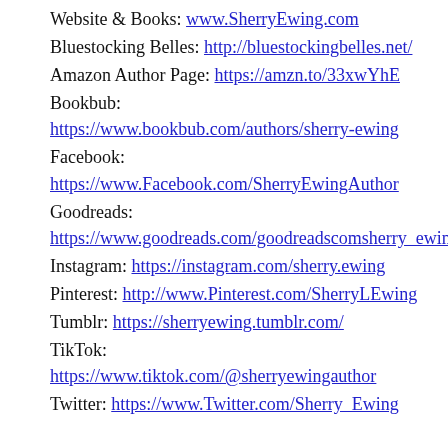Website & Books: www.SherryEwing.com
Bluestocking Belles: http://bluestockingbelles.net/
Amazon Author Page: https://amzn.to/33xwYhE
Bookbub: https://www.bookbub.com/authors/sherry-ewing
Facebook: https://www.Facebook.com/SherryEwingAuthor
Goodreads: https://www.goodreads.com/goodreadscomsherry_ewing
Instagram: https://instagram.com/sherry.ewing
Pinterest: http://www.Pinterest.com/SherryLEwing
Tumblr: https://sherryewing.tumblr.com/
TikTok: https://www.tiktok.com/@sherryewingauthor
Twitter: https://www.Twitter.com/Sherry_Ewing